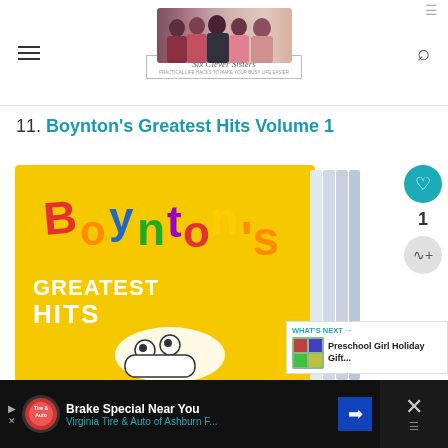Six Clever Sisters
11. Boynton's Greatest Hits Volume 1
[Figure (photo): Yellow box set of Boynton's Greatest Hits children's books with colorful text on a yellow background showing a cow character]
WHAT'S NEXT → Preschool Girl Holiday Gift...
Brake Special Near You Virginia Tire & Auto of Ashburn F...